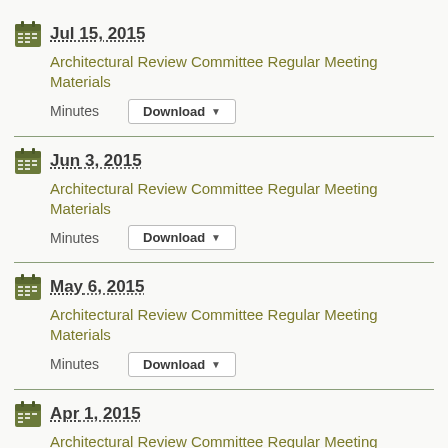Jul 15, 2015 – Architectural Review Committee Regular Meeting Materials – Minutes Download
Jun 3, 2015 – Architectural Review Committee Regular Meeting Materials – Minutes Download
May 6, 2015 – Architectural Review Committee Regular Meeting Materials – Minutes Download
Apr 1, 2015 – Architectural Review Committee Regular Meeting Materials